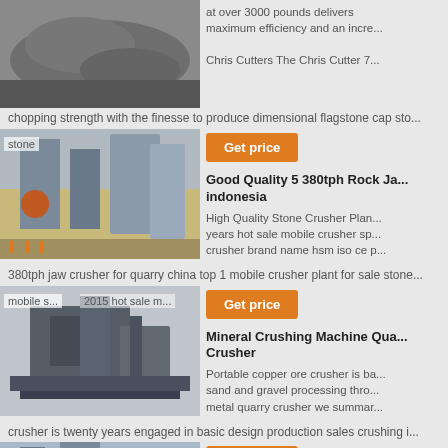[Figure (photo): Aerial or close-up photo of stone/gravel material, partially visible at top]
at over 3000 pounds delivers maximum efficiency and an incre...
Chris Cutters The Chris Cutter 7...
chopping strength with the finesse to produce dimensional flagstone cap sto...
[Figure (photo): Industrial stone crusher plant with silos and machinery against mountain backdrop]
stone
Get price
Good Quality 5 380tph Rock Ja... indonesia
High Quality Stone Crusher Plan... years hot sale mobile crusher sp... crusher brand name hsm iso ce p...
380tph jaw crusher for quarry china top 1 mobile crusher plant for sale stone...
[Figure (photo): Mobile crushing machine/industrial crusher equipment on grey background]
mobile s... 2015 hot sale m...
Get price
Mineral Crushing Machine Qua... Crusher
Portable copper ore crusher is ba... sand and gravel processing thro... metal quarry crusher we summar...
crusher is twenty years engaged in basic design production sales crushing i...
[Figure (photo): Stone crusher plant with mountains and blue sky in background]
stone
Get price
Impact vs cone crushers Whic...